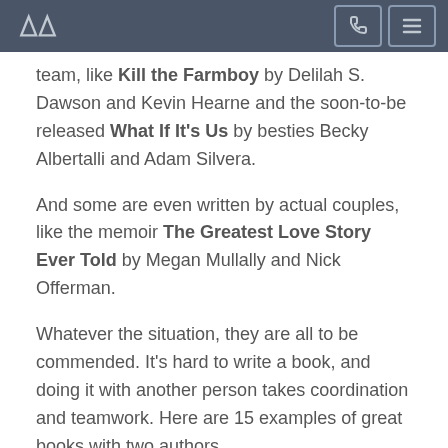[site logo and navigation icons]
team, like Kill the Farmboy by Delilah S. Dawson and Kevin Hearne and the soon-to-be released What If It's Us by besties Becky Albertalli and Adam Silvera.
And some are even written by actual couples, like the memoir The Greatest Love Story Ever Told by Megan Mullally and Nick Offerman.
Whatever the situation, they are all to be commended. It's hard to write a book, and doing it with another person takes coordination and teamwork. Here are 15 examples of great books with two authors.
*Chris Traeger from Parks & Recreation voice*: There are literally thousands and thousands more.